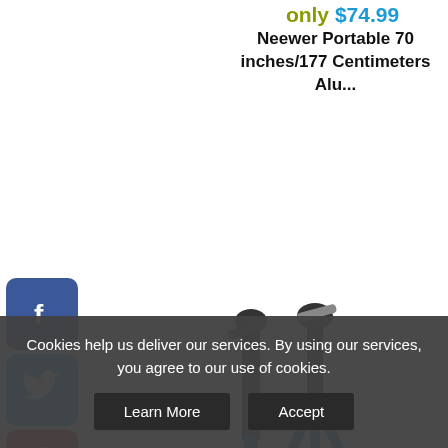only $74.99
Neewer Portable 70 inches/177 Centimeters Alu...
[Figure (photo): Two blue and black camera tripods side by side]
only $58.99
Neewer Portable 56
[Figure (infographic): Social media share buttons: Facebook, Twitter, Pinterest, Tumblr, Share+]
Cookies help us deliver our services. By using our services, you agree to our use of cookies.